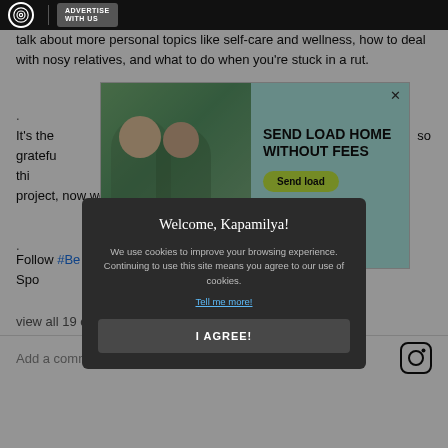ABS-CBN | ADVERTISE WITH US
talk about more personal topics like self-care and wellness, how to deal with nosy relatives, and what to do when you're stuck in a rut.
.
[Figure (photo): Advertisement banner for Ding money transfer service showing two young girls looking at a phone, with text 'SEND LOAD HOME WITHOUT FEES' and a 'Send load' button]
It's the [...]  are in the sa[...] so gratefu[...] given us - thi[...] etwork was originally a small passion project, now we're growing at a steady pace[...]
Follow #Be[...] es for FREE only on Spo[...] yPodcasts @spotifypo[...]
view all 19 c[...]
Add a comm[...]
Welcome, Kapamilya! We use cookies to improve your browsing experience. Continuing to use this site means you agree to our use of cookies. Tell me more! I AGREE!